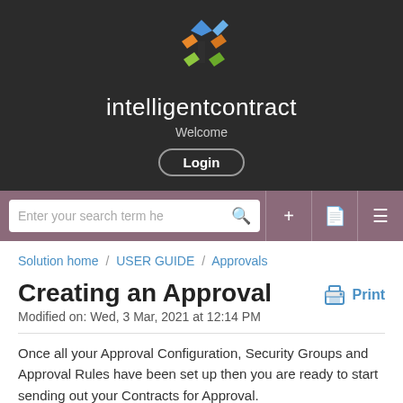[Figure (logo): intelligentcontract logo with colorful X icon, Welcome text, and Login button on dark background]
[Figure (screenshot): Search bar with search input field, plus, document, and menu icons on mauve background]
Solution home / USER GUIDE / Approvals
Creating an Approval
Modified on: Wed, 3 Mar, 2021 at 12:14 PM
Once all your Approval Configuration, Security Groups and Approval Rules have been set up then you are ready to start sending out your Contracts for Approval.
Note:  Once a Contract has been sent for Approval then the